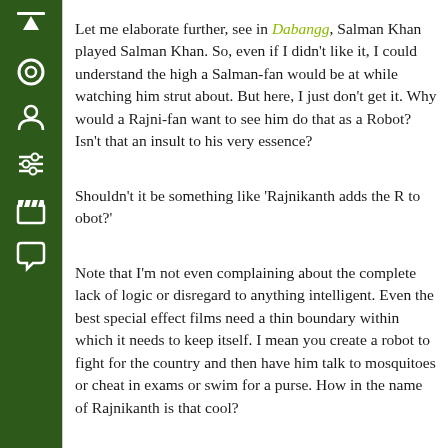[Figure (other): Dark green sidebar with navigation icons: up arrow, circle/target, person/user icon, sliders/settings icon, film clapperboard icon, speech bubble/comment icon]
Let me elaborate further, see in Dabangg, Salman Khan played Salman Khan. So, even if I didn't like it, I could understand the high a Salman-fan would be at while watching him strut about. But here, I just don't get it. Why would a Rajni-fan want to see him do that as a Robot? Isn't that an insult to his very essence?
Shouldn't it be something like 'Rajnikanth adds the R to obot?'
Note that I'm not even complaining about the complete lack of logic or disregard to anything intelligent. Even the best special effect films need a thin boundary within which it needs to keep itself. I mean you create a robot to fight for the country and then have him talk to mosquitoes or cheat in exams or swim for a purse. How in the name of Rajnikanth is that cool?